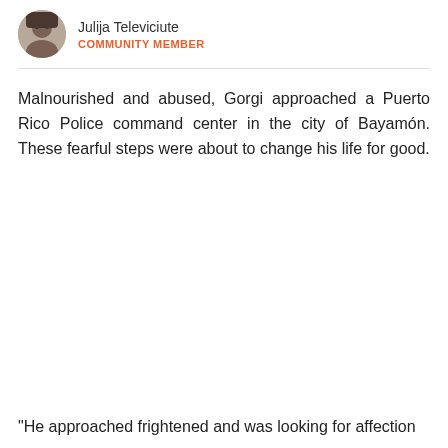Julija Televiciute
COMMUNITY MEMBER
Malnourished and abused, Gorgi approached a Puerto Rico Police command center in the city of Bayamón. These fearful steps were about to change his life for good.
“He approached frightened and was looking for affection